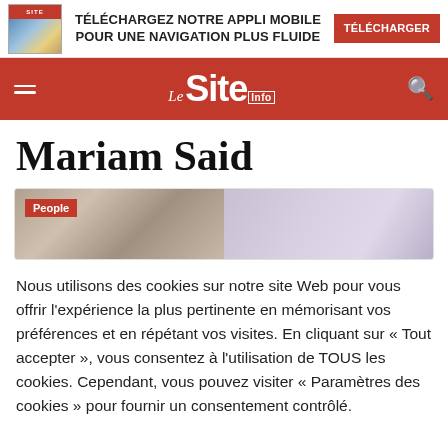[Figure (screenshot): Banner ad with magazine image on left, text 'TÉLÉCHARGEZ NOTRE APPLI MOBILE POUR UNE NAVIGATION PLUS FLUIDE' in center, and red 'TÉLÉCHARGER' button on right]
[Figure (logo): Le Site Info logo in white text on red navigation bar with hamburger menu on left and search icon on right]
Mariam Said
[Figure (photo): Article card with red 'People' tag and photo of a woman holding her hair]
Nous utilisons des cookies sur notre site Web pour vous offrir l'expérience la plus pertinente en mémorisant vos préférences et en répétant vos visites. En cliquant sur « Tout accepter », vous consentez à l'utilisation de TOUS les cookies. Cependant, vous pouvez visiter « Paramètres des cookies » pour fournir un consentement contrôlé.